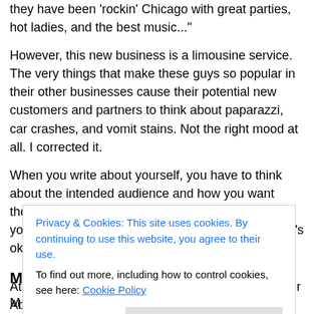they have been 'rockin' Chicago with great parties, hot ladies, and the best music...'
However, this new business is a limousine service. The very things that make these guys so popular in their other businesses cause their potential new customers and partners to think about paparazzi, car crashes, and vomit stains. Not the right mood at all. I corrected it.
When you write about yourself, you have to think about the intended audience and how you want them to see you. You may have different sides of your personality to show at different times, and that's okay.
Match the medium
M... a...
S... o...
[Figure (screenshot): Cookie consent banner overlay with text: 'Privacy & Cookies: This site uses cookies. By continuing to use this website, you agree to their use. To find out more, including how to control cookies, see here: Cookie Policy' and a 'Close and accept' button.]
At LinkedIn, you can be a bit sales-oriented, on your About Us